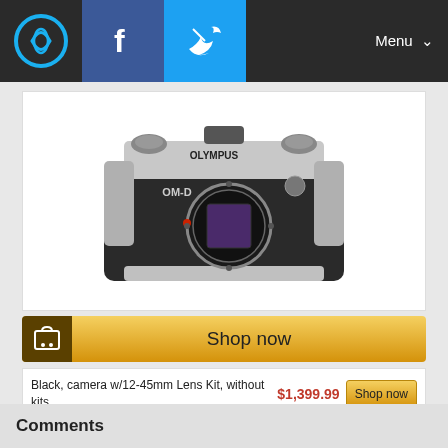[Figure (screenshot): Navigation bar with logo, Facebook icon, Twitter icon, and Menu button]
[Figure (photo): Olympus OM-D mirrorless camera, silver and black, body only, front view]
Shop now
Black, camera w/12-45mm Lens Kit, without kits — $1,399.99 — Shop now
Silver, camera w/12-45mm Lens Kit, without kits — See price on Amazon.com
Silver, Camera Only, without kits — $999.99 — Shop now
Comments